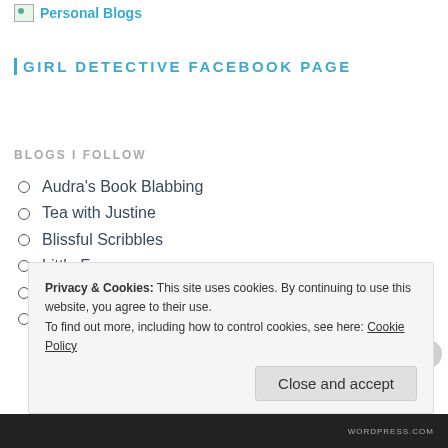Personal Blogs
GIRL DETECTIVE FACEBOOK PAGE
BLOGS I FOLLOW
Audra's Book Blabbing
Tea with Justine
Blissful Scribbles
Little Fears
Experience Writing
Novelgossip
Privacy & Cookies: This site uses cookies. By continuing to use this website, you agree to their use.
To find out more, including how to control cookies, see here: Cookie Policy
Close and accept